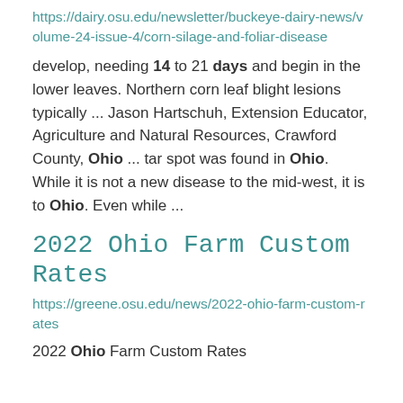https://dairy.osu.edu/newsletter/buckeye-dairy-news/volume-24-issue-4/corn-silage-and-foliar-disease
develop, needing 14 to 21 days and begin in the lower leaves. Northern corn leaf blight lesions typically ... Jason Hartschuh, Extension Educator, Agriculture and Natural Resources, Crawford County, Ohio ... tar spot was found in Ohio. While it is not a new disease to the mid-west, it is to Ohio. Even while ...
2022 Ohio Farm Custom Rates
https://greene.osu.edu/news/2022-ohio-farm-custom-rates
2022 Ohio Farm Custom Rates